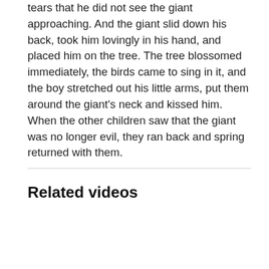tears that he did not see the giant approaching. And the giant slid down his back, took him lovingly in his hand, and placed him on the tree. The tree blossomed immediately, the birds came to sing in it, and the boy stretched out his little arms, put them around the giant's neck and kissed him.
When the other children saw that the giant was no longer evil, they ran back and spring returned with them.
Related videos